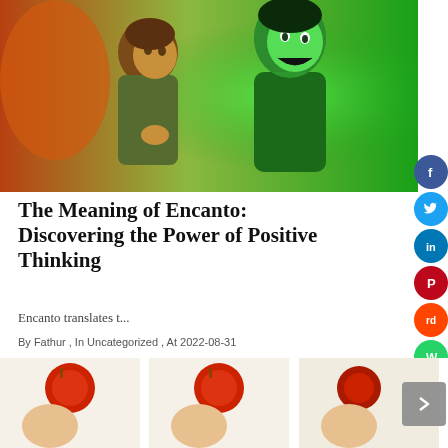[Figure (photo): Screenshot from the animated movie Encanto showing two characters: one with curly brown hair looking concerned, another glowing green and laughing. Warm orange and green color palette.]
The Meaning of Encanto: Discovering the Power of Positive Thinking
Encanto translates t...
By Fathur , In Uncategorized , At 2022-08-31
[Figure (photo): Three thumbnail images showing cartoon characters with red balloons, partially visible at the bottom of the page.]